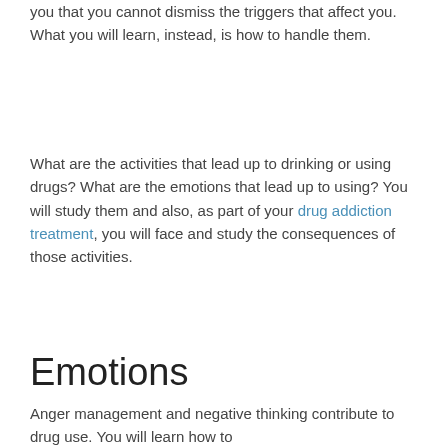you that you cannot dismiss the triggers that affect you. What you will learn, instead, is how to handle them.
What are the activities that lead up to drinking or using drugs? What are the emotions that lead up to using? You will study them and also, as part of your drug addiction treatment, you will face and study the consequences of those activities.
Emotions
Anger management and negative thinking contribute to drug use. You will learn how to